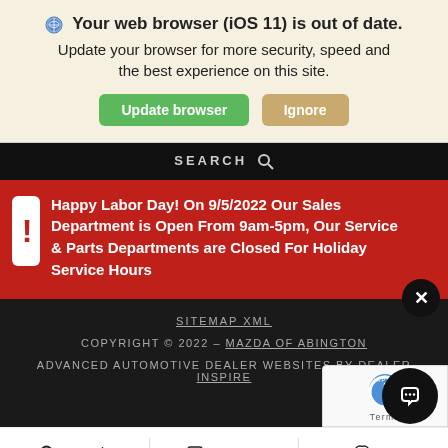Your web browser (iOS 11) is out of date. Update your browser for more security, speed and the best experience on this site.
Update browser | Ignore
SEARCH
Happy Labor Day! On 9/5/2022 Our Sales Department is Open From 9am-5pm, Our Service & Parts Departments are Closed For Holiday Service Hours
SITEMAP XML
COPYRIGHT © 2022 - MAZDA OF ABINGTON
ADVANCED AUTOMOTIVE DEALER WEBSITES BY DEALER INSPIRE
Search   Contact   Sa...